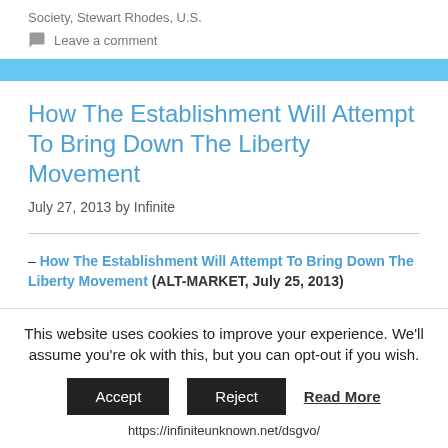Society, Stewart Rhodes, U.S.
Leave a comment
How The Establishment Will Attempt To Bring Down The Liberty Movement
July 27, 2013 by Infinite
– How The Establishment Will Attempt To Bring Down The Liberty Movement (ALT-MARKET, July 25, 2013)
This website uses cookies to improve your experience. We'll assume you're ok with this, but you can opt-out if you wish.
Accept   Reject   Read More
https://infiniteunknown.net/dsgvo/